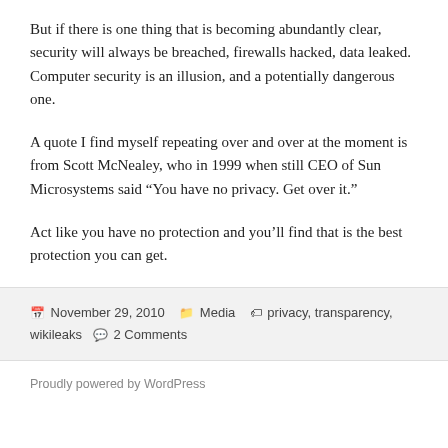But if there is one thing that is becoming abundantly clear, security will always be breached, firewalls hacked, data leaked. Computer security is an illusion, and a potentially dangerous one.
A quote I find myself repeating over and over at the moment is from Scott McNealey, who in 1999 when still CEO of Sun Microsystems said “You have no privacy. Get over it.”
Act like you have no protection and you’ll find that is the best protection you can get.
November 29, 2010   Media   privacy, transparency, wikileaks   2 Comments
Proudly powered by WordPress